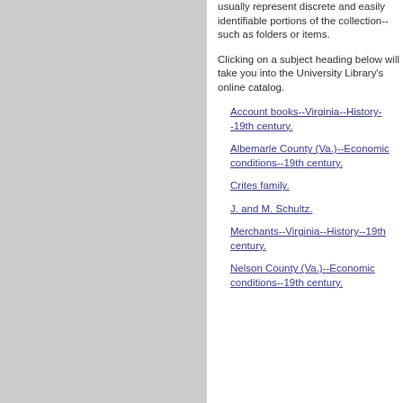usually represent discrete and easily identifiable portions of the collection--such as folders or items.
Clicking on a subject heading below will take you into the University Library's online catalog.
Account books--Virginia--History--19th century.
Albemarle County (Va.)--Economic conditions--19th century.
Crites family.
J. and M. Schultz.
Merchants--Virginia--History--19th century.
Nelson County (Va.)--Economic conditions--19th century.